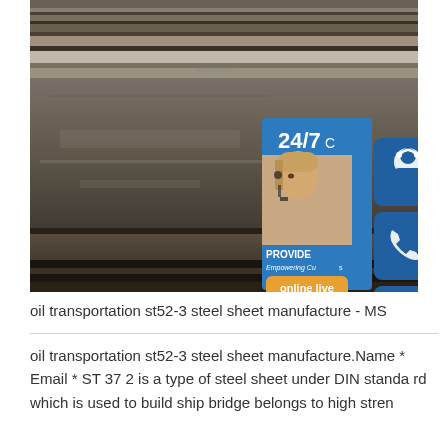[Figure (photo): Industrial steel sheets/plates stacked in a warehouse or factory setting, with a customer service overlay widget showing 24/7 support icon, phone icon, Skype icon, and 'online live' button with a woman wearing a headset]
oil transportation st52-3 steel sheet manufacture - MS
oil transportation st52-3 steel sheet manufacture.Name * Email * ST 37 2 is a type of steel sheet under DIN standard which is used to build ship bridge belongs to high stren